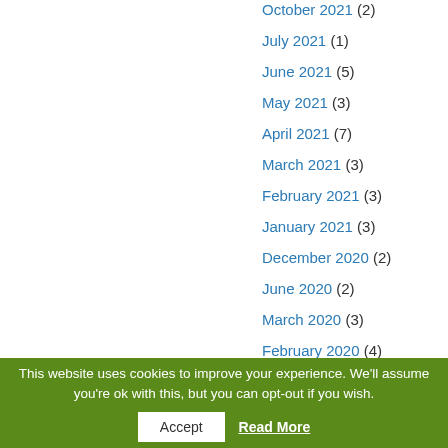October 2021 (2)
July 2021 (1)
June 2021 (5)
May 2021 (3)
April 2021 (7)
March 2021 (3)
February 2021 (3)
January 2021 (3)
December 2020 (2)
June 2020 (2)
March 2020 (3)
February 2020 (4)
This website uses cookies to improve your experience. We'll assume you're ok with this, but you can opt-out if you wish. Accept Read More